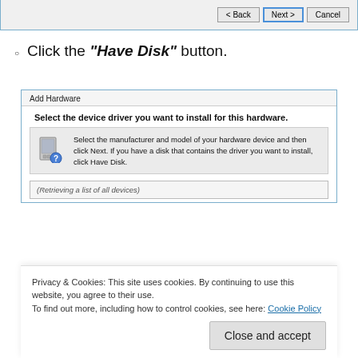[Figure (screenshot): Top portion of a Windows 'Add Hardware' wizard dialog showing Back, Next, and Cancel buttons at the bottom.]
Click the "Have Disk" button.
[Figure (screenshot): Windows 'Add Hardware' dialog box showing 'Select the device driver you want to install for this hardware.' with hardware icon and info text about selecting manufacturer and model, and a list area showing '(Retrieving a list of all devices)'.]
Privacy & Cookies: This site uses cookies. By continuing to use this website, you agree to their use.
To find out more, including how to control cookies, see here: Cookie Policy
Close and accept